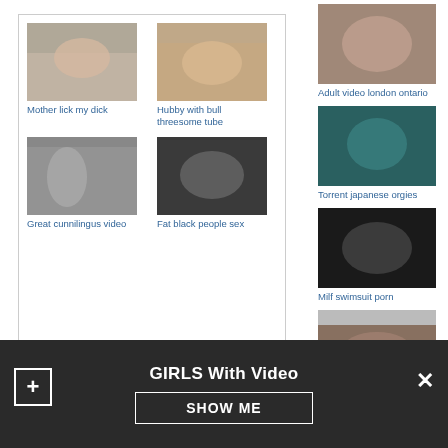[Figure (photo): Thumbnail grid with 4 images and captions]
Mother lick my dick
Hubby with bull threesome tube
Great cunnilingus video
Fat black people sex
[Figure (photo): Right column thumbnails with captions]
Adult video london ontario
Torrent japanese orgies
Milf swimsuit porn
GIRLS With Video
SHOW ME